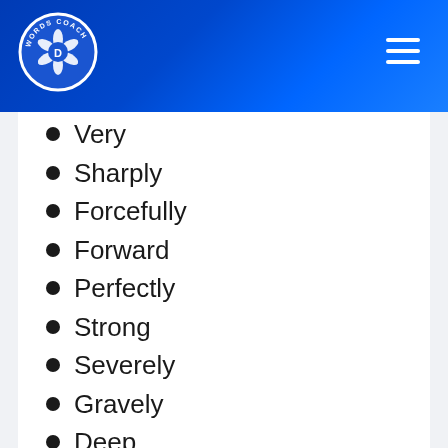[Figure (logo): Words Coach circular logo with camera aperture design and letter D in center, white on blue background]
Very
Sharply
Forcefully
Forward
Perfectly
Strong
Severely
Gravely
Deep
Extremely